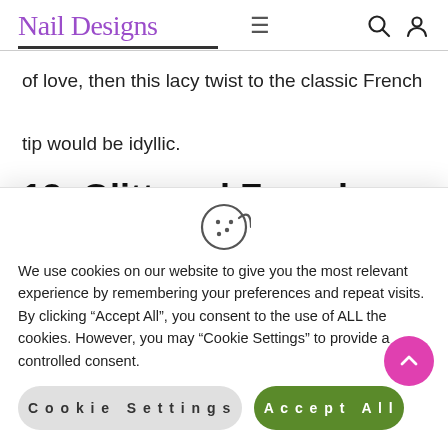Nail Designs
of love, then this lacy twist to the classic French tip would be idyllic.
13. Glittered French Nail Designs
We use cookies on our website to give you the most relevant experience by remembering your preferences and repeat visits. By clicking “Accept All”, you consent to the use of ALL the cookies. However, you may “Cookie Settings” to provide a controlled consent.
Cookie Settings | Accept All